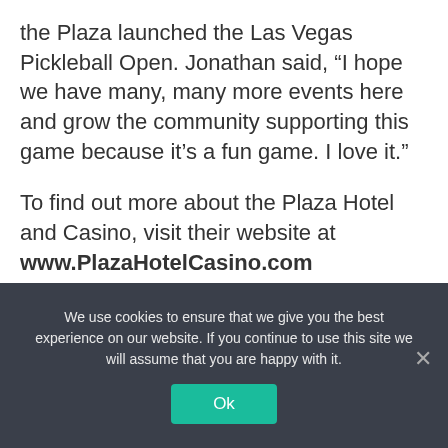the Plaza launched the Las Vegas Pickleball Open. Jonathan said, “I hope we have many, many more events here and grow the community supporting this game because it’s a fun game. I love it.”
To find out more about the Plaza Hotel and Casino, visit their website at www.PlazaHotelCasino.com
========== WATCH THIS RELATED VIDEO ==========
We use cookies to ensure that we give you the best experience on our website. If you continue to use this site we will assume that you are happy with it.